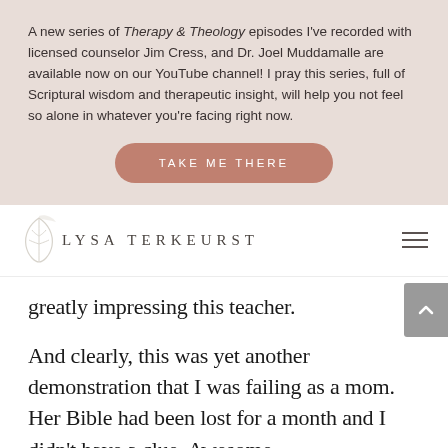A new series of Therapy & Theology episodes I've recorded with licensed counselor Jim Cress, and Dr. Joel Muddamalle are available now on our YouTube channel! I pray this series, full of Scriptural wisdom and therapeutic insight, will help you not feel so alone in whatever you're facing right now.
TAKE ME THERE
[Figure (logo): Lysa TerKeurst logo with decorative leaf/branch illustration and text LYSA TERKEURST in spaced uppercase serif letters]
greatly impressing this teacher.
And clearly, this was yet another demonstration that I was failing as a mom. Her Bible had been lost for a month and I didn't have a clue. Awesome.